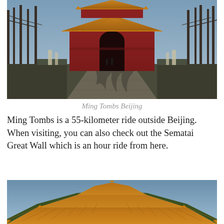[Figure (photo): Photograph of a traditional Chinese Ming Tombs gateway building with red walls and golden/orange tiled roof, viewed from a straight stone path lined with bare trees, taken in winter or early spring with blue sky visible.]
Ming Tombs Beijing
Ming Tombs is a 55-kilometer ride outside Beijing. When visiting, you can also check out the Sematai Great Wall which is an hour ride from here.
[Figure (photo): Photograph of a traditional Chinese temple or pavilion rooftop with layered golden/orange tiled eaves against a blue sky, showing classic Ming dynasty architectural style.]